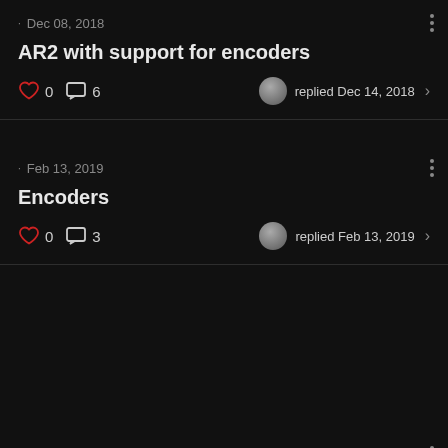Dec 08, 2018 — AR2 with support for encoders — 0 likes, 6 comments, replied Dec 14, 2018
Feb 13, 2019 — Encoders — 0 likes, 3 comments, replied Feb 13, 2019
Nov 14, 2019 — Mounting Encoders AR3? — 0 likes, 3 comments, replied Nov 14, 2019